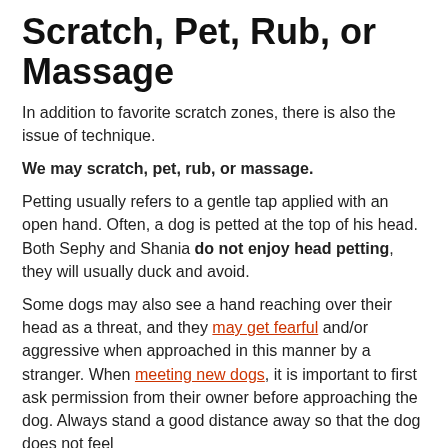Scratch, Pet, Rub, or Massage
In addition to favorite scratch zones, there is also the issue of technique.
We may scratch, pet, rub, or massage.
Petting usually refers to a gentle tap applied with an open hand. Often, a dog is petted at the top of his head. Both Sephy and Shania do not enjoy head petting, they will usually duck and avoid.
Some dogs may also see a hand reaching over their head as a threat, and they may get fearful and/or aggressive when approached in this manner by a stranger. When meeting new dogs, it is important to first ask permission from their owner before approaching the dog. Always stand a good distance away so that the dog does not feel